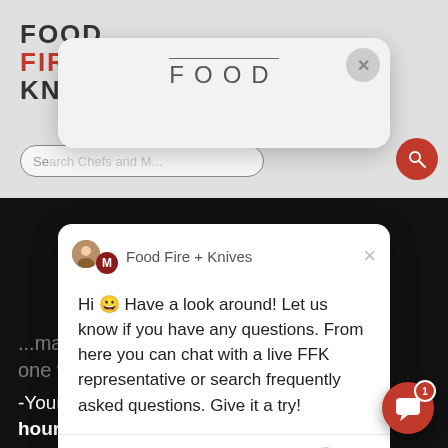[Figure (screenshot): Background website (Food Fire + Knives) with dark overlay, showing nav bar with logo, search bar, and bottom page content partially visible]
[Figure (screenshot): Chat widget popup modal showing Food Fire + Knives agent with message: Hi 😀 Have a look around! Let us know if you have any questions. From here you can chat with a live FFK representative or search frequently asked questions. Give it a try! With reply input area and GIF/emoji/attachment icons]
Food Fire + Knives
Hi 😀 Have a look around! Let us know if you have any questions. From here you can chat with a live FFK representative or search frequently asked questions. Give it a try!
Write a reply...